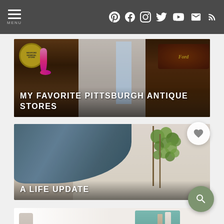MENU (navigation bar with social icons: Pinterest, Facebook, Instagram, Twitter, YouTube, Email, RSS)
[Figure (photo): Antique store interior showing vintage signage including a Wexford General Store yellow circular sign, pink neon shape, antique furniture and a Ford sign on the right]
MY FAVORITE PITTSBURGH ANTIQUE STORES
[Figure (photo): Close-up of blue painted furniture piece with a green eucalyptus plant behind it on a light background]
A LIFE UPDATE
[Figure (photo): Bright airy white room with chairs and a teal/mint colored sideboard or cabinet visible]